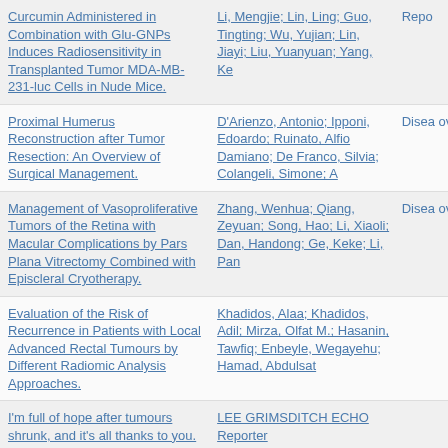| Title | Authors | Type |
| --- | --- | --- |
| Curcumin Administered in Combination with Glu-GNPs Induces Radiosensitivity in Transplanted Tumor MDA-MB-231-luc Cells in Nude Mice. | Li, Mengjie; Lin, Ling; Guo, Tingting; Wu, Yujian; Lin, Jiayi; Liu, Yuanyuan; Yang, Ke | Repo |
| Proximal Humerus Reconstruction after Tumor Resection: An Overview of Surgical Management. | D'Arienzo, Antonio; Ipponi, Edoardo; Ruinato, Alfio Damiano; De Franco, Silvia; Colangeli, Simone; A | Disea overvie |
| Management of Vasoproliferative Tumors of the Retina with Macular Complications by Pars Plana Vitrectomy Combined with Episcleral Cryotherapy. | Zhang, Wenhua; Qiang, Zeyuan; Song, Hao; Li, Xiaoli; Dan, Handong; Ge, Keke; Li, Pan | Disea overvie |
| Evaluation of the Risk of Recurrence in Patients with Local Advanced Rectal Tumours by Different Radiomic Analysis Approaches. | Khadidos, Alaa; Khadidos, Adil; Mirza, Olfat M.; Hasanin, Tawfiq; Enbeyle, Wegayehu; Hamad, Abdulsat |  |
| I'm full of hope after tumours shrunk, and it's all thanks to you. | LEE GRIMSDITCH ECHO Reporter lee.grimsditch@reachplc.com @LeeGrimsditch |  |
| Clinical Study of Three-Dimensional Laparoscopic Partial Nephrectomy for the Treatment of Highly Complex | Li, Maomao; Ren, Yu; Weng, Guobin | Repo |